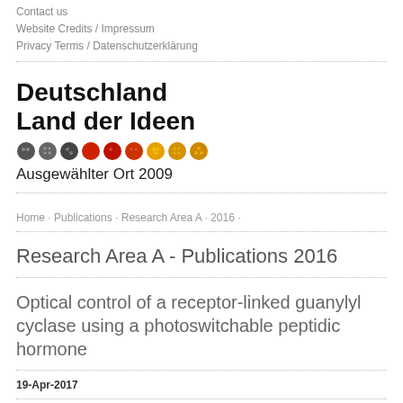Contact us
Website Credits / Impressum
Privacy Terms / Datenschutzerklärung
[Figure (logo): Deutschland Land der Ideen logo with colored circles and subtitle Ausgewählter Ort 2009]
Home · Publications · Research Area A · 2016 ·
Research Area A - Publications 2016
Optical control of a receptor-linked guanylyl cyclase using a photoswitchable peptidic hormone
19-Apr-2017
Tom Podewin, Johannes Broichhagen, Christina Frost, Dieter Groneberg, Julia Ast, Helena Meyer-Berg, Nicholas H. F. Fine, Andreas Friebe, Martin Zacharias, David J. Hodson, Dirk Trauner, Anja Hoffmann-Röder